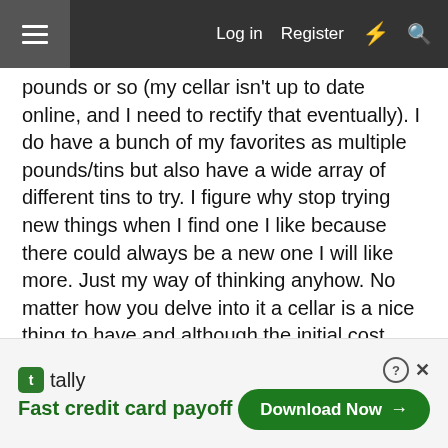Log in  Register
pounds or so (my cellar isn't up to date online, and I need to rectify that eventually). I do have a bunch of my favorites as multiple pounds/tins but also have a wide array of different tins to try. I figure why stop trying new things when I find one I like because there could always be a new one I will like more. Just my way of thinking anyhow. No matter how you delve into it a cellar is a nice thing to have and although the initial cost sucks the savings of buying now and cellaring well outweighs what the taxes will have us paying as time passes. We should all have a lifetime supply in our cellar to smoke/share/enjoy. Good on ya for having a wide range of tobaccos to try, when you find "that" tobacco for you I am sure you will grab a few pounds...and then your tastes will change as
[Figure (screenshot): Tally advertisement banner: logo with green icon, 'Fast credit card payoff' tagline, and 'Download Now' button with close/info icons]